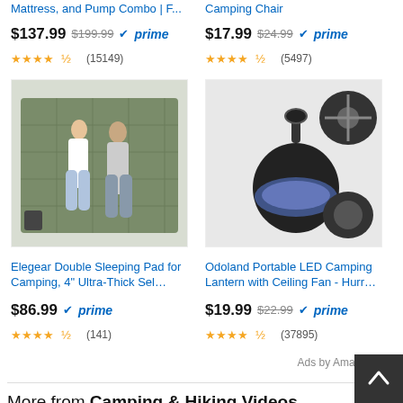Mattress, and Pump Combo | F... (truncated product title)
Camping Chair (truncated product title)
$137.99 $199.99 prime
$17.99 $24.99 prime
4.5 stars (15149)
4.5 stars (5497)
[Figure (photo): Two people lying on a green inflatable double sleeping pad]
[Figure (photo): Odoland Portable LED Camping Lantern with Ceiling Fan product image]
Elegear Double Sleeping Pad for Camping, 4" Ultra-Thick Sel...
Odoland Portable LED Camping Lantern with Ceiling Fan - Hurr...
$86.99 prime
$19.99 $22.99 prime
4.5 stars (141)
4.5 stars (37895)
Ads by Amazon
More from Camping & Hiking Videos
More posts in Camping & Hiking V...